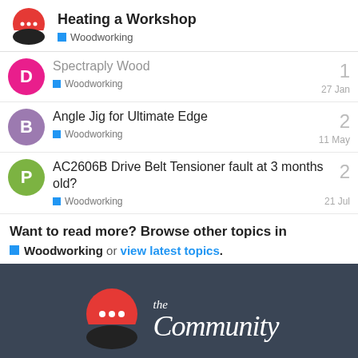Heating a Workshop
Woodworking
Spectraply Wood — Woodworking — 27 Jan — replies: 1
Angle Jig for Ultimate Edge — Woodworking — 11 May — replies: 2
AC2606B Drive Belt Tensioner fault at 3 months old? — Woodworking — 21 Jul — replies: 2
Want to read more? Browse other topics in Woodworking or view latest topics.
[Figure (logo): The Community forum logo — red speech bubble with three dots over a black arc, with cursive 'the Community' text in white on dark slate background]